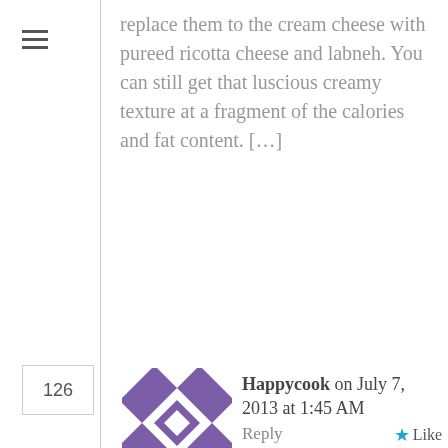replace them to the cream cheese with pureed ricotta cheese and labneh. You can still get that luscious creamy texture at a fragment of the calories and fat content. […]
126
[Figure (illustration): Purple geometric quilt-pattern avatar icon for user Happycook]
Happycook on July 7, 2013 at 1:45 AM   Reply   ★ Like
Hi, Is Labneh another word for yogurt? Also, when straining, the purpose is to strain all of the juice correct? I know my questions sound elementary, but I want to start using this instead of cream cheese, which I use often in my desserts. This sounds much healthier! Thank you, Today is the 1st time that I visited your page. The recipes sound so yummy. The walnut pie I must do, & the healthy cheesecake.. Also I think it's